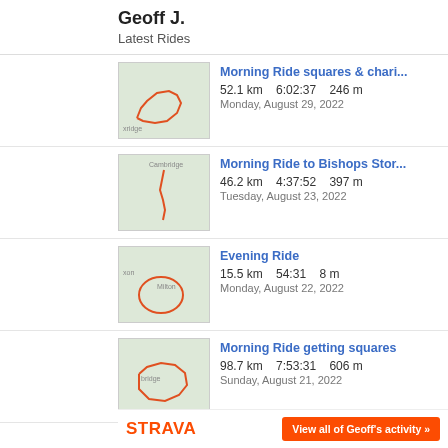Geoff J.
Latest Rides
[Figure (map): Map route for Morning Ride squares & chari...]
Morning Ride squares & chari...
52.1 km   6:02:37   246 m
Monday, August 29, 2022
[Figure (map): Map route for Morning Ride to Bishops Stor...]
Morning Ride to Bishops Stor...
46.2 km   4:37:52   397 m
Tuesday, August 23, 2022
[Figure (map): Map route for Evening Ride]
Evening Ride
15.5 km   54:31   8 m
Monday, August 22, 2022
[Figure (map): Map route for Morning Ride getting squares]
Morning Ride getting squares
98.7 km   7:53:31   606 m
Sunday, August 21, 2022
[Figure (map): Map route for Peterborugh station to Marke...]
Peterborugh station to Marke...
33.2 km   5:39:42   191 m
Friday, August 19, 2022
STRAVA   View all of Geoff's activity »